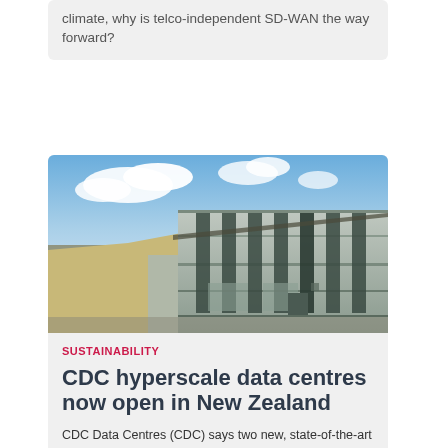climate, why is telco-independent SD-WAN the way forward?
[Figure (photo): Exterior photo of a large modern data centre building with grey metal cladding and vertical window columns, taken from ground level with a blue cloudy sky in the background and a road/driveway in the foreground.]
SUSTAINABILITY
CDC hyperscale data centres now open in New Zealand
CDC Data Centres (CDC) says two new, state-of-the-art hyperscale data centres are now open for business in Auckland.